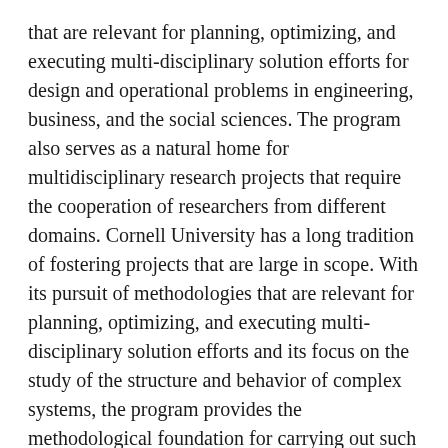that are relevant for planning, optimizing, and executing multi-disciplinary solution efforts for design and operational problems in engineering, business, and the social sciences. The program also serves as a natural home for multidisciplinary research projects that require the cooperation of researchers from different domains. Cornell University has a long tradition of fostering projects that are large in scope. With its pursuit of methodologies that are relevant for planning, optimizing, and executing multi-disciplinary solution efforts and its focus on the study of the structure and behavior of complex systems, the program provides the methodological foundation for carrying out such projects. This degree is intended for students who are interested in a research career in Systems Science and Engineering as opposed to our MEng program which is intended for